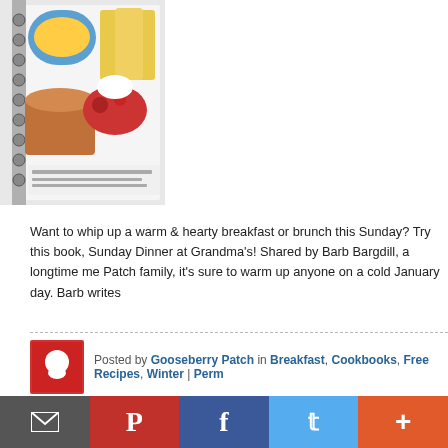[Figure (photo): Spiral-bound cookbook with colorful food illustrations on the cover, shown partially cropped at top-left]
Want to whip up a warm & hearty breakfast or brunch this Sunday? Try this book, Sunday Dinner at Grandma's! Shared by Barb Bargdill, a longtime me Patch family, it's sure to warm up anyone on a cold January day. Barb writes
Posted by Gooseberry Patch in Breakfast, Cookbooks, Free Recipes, Winter | Perm
Friday, January 07, 2011
Meet Another Grandma this Friday!
[Figure (logo): Gooseberry Patch Featured Friday badge/logo - circular logo with goose, surrounded by star burst, text reads Featured Friday]